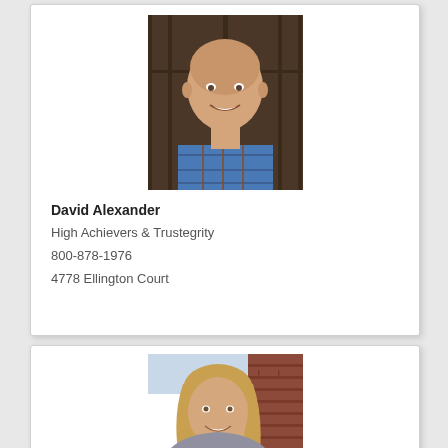[Figure (photo): Headshot of David Alexander, a bald man smiling, wearing a blue/orange plaid shirt, photographed against a dark wooden background]
David Alexander
High Achievers & Trustegrity
800-878-1976
4778 Ellington Court
[Figure (photo): Headshot of a woman with long blonde/brown hair, smiling, photographed against a brick wall background (partially visible, card cut off)]